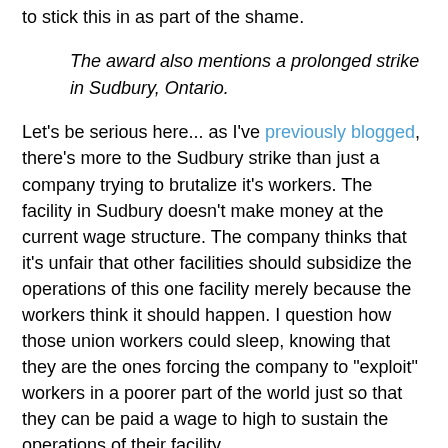to stick this in as part of the shame.
The award also mentions a prolonged strike in Sudbury, Ontario.
Let's be serious here... as I've previously blogged, there's more to the Sudbury strike than just a company trying to brutalize it's workers. The facility in Sudbury doesn't make money at the current wage structure. The company thinks that it's unfair that other facilities should subsidize the operations of this one facility merely because the workers think it should happen. I question how those union workers could sleep, knowing that they are the ones forcing the company to "exploit" workers in a poorer part of the world just so that they can be paid a wage to high to sustain the operations of their facility.
While it sounds like Vale is into some interesting stuff based on the award's press release, I would also point out that RBC won this award 2 years ago for no other reason than investing in the Oil Sands, and KPMG, an ACCOUNTING FIRM, won the award in 2005 for no other reason than they